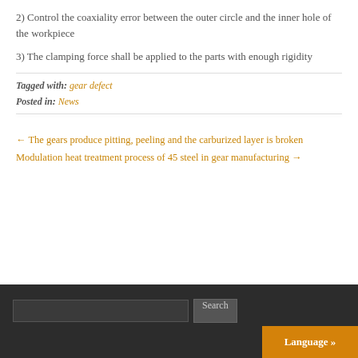2) Control the coaxiality error between the outer circle and the inner hole of the workpiece
3) The clamping force shall be applied to the parts with enough rigidity
Tagged with: gear defect
Posted in: News
← The gears produce pitting, peeling and the carburized layer is broken
Modulation heat treatment process of 45 steel in gear manufacturing →
Search  Language »